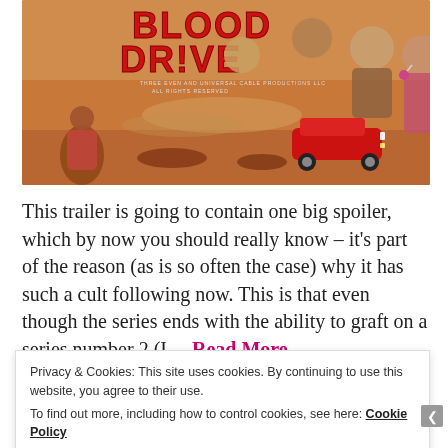[Figure (illustration): Movie poster artwork for 'Blood Drive' showing action characters, a red muscle car, and dramatic desert scene with the title 'BLOOD DRIVE' in large red letters at the top]
This trailer is going to contain one big spoiler, which by now you should really know – it's part of the reason (as is so often the case) why it has such a cult following now. This is that even though the series ends with the ability to graft on a series number 2 (I… Read More
Privacy & Cookies: This site uses cookies. By continuing to use this website, you agree to their use.
To find out more, including how to control cookies, see here: Cookie Policy
Close and accept